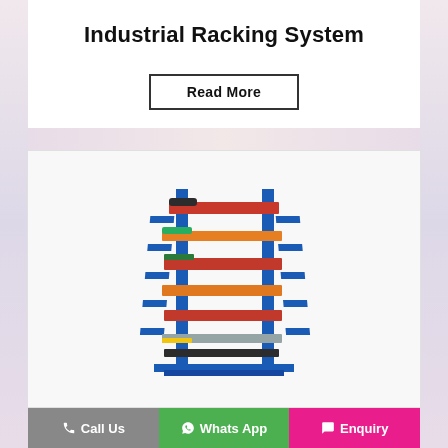Industrial Racking System
Read More
[Figure (photo): A cantilever industrial racking system with blue steel uprights and arms holding multiple rows of metal pipes, tubes, and bars in red, orange, grey, and black colors]
Call Us
Whats App
Enquiry